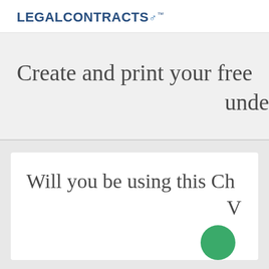LEGALCONTRACTS™
Create and print your free unde
Will you be using this Ch V